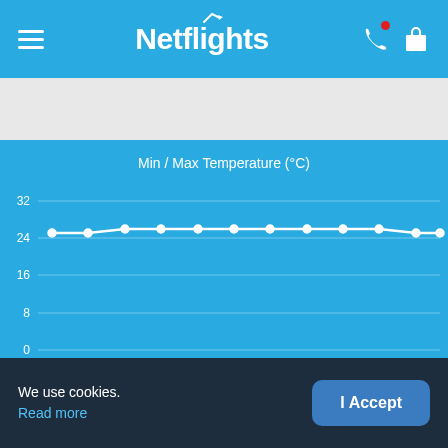Netflights
[Figure (line-chart): Min / Max Temperature (°C)]
We use cookies. Read more